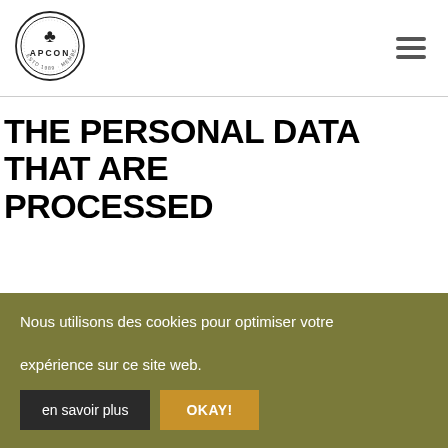[Figure (logo): APCON circular logo with a tree/clover icon and text 'APCON ESTD 1989' around the border]
THE PERSONAL DATA THAT ARE PROCESSED
Nous utilisons des cookies pour optimiser votre expérience sur ce site web. en savoir plus OKAY!